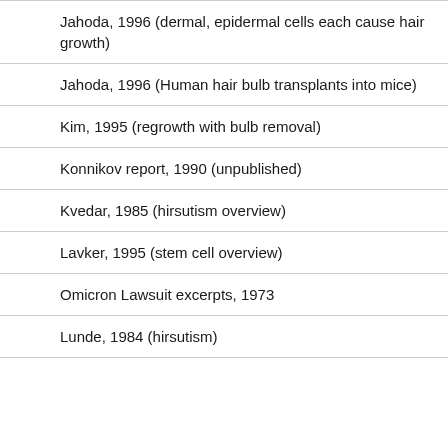Jahoda, 1996 (dermal, epidermal cells each cause hair growth)
Jahoda, 1996 (Human hair bulb transplants into mice)
Kim, 1995 (regrowth with bulb removal)
Konnikov report, 1990 (unpublished)
Kvedar, 1985 (hirsutism overview)
Lavker, 1995 (stem cell overview)
Omicron Lawsuit excerpts, 1973
Lunde, 1984 (hirsutism)